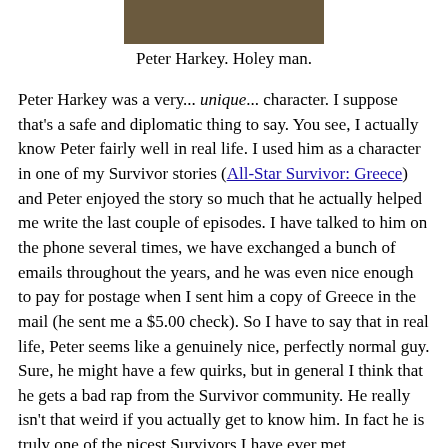[Figure (photo): Cropped photo of Peter Harkey, appearing to be outdoors]
Peter Harkey. Holey man.
Peter Harkey was a very... unique... character. I suppose that's a safe and diplomatic thing to say. You see, I actually know Peter fairly well in real life. I used him as a character in one of my Survivor stories (All-Star Survivor: Greece) and Peter enjoyed the story so much that he actually helped me write the last couple of episodes. I have talked to him on the phone several times, we have exchanged a bunch of emails throughout the years, and he was even nice enough to pay for postage when I sent him a copy of Greece in the mail (he sent me a $5.00 check). So I have to say that in real life, Peter seems like a genuinely nice, perfectly normal guy. Sure, he might have a few quirks, but in general I think that he gets a bad rap from the Survivor community. He really isn't that weird if you actually get to know him. In fact he is truly one of the nicest Survivors I have ever met.
I'll share a funny story about Peter that he once told me over the phone. It will help explain some of the reasons he was voted out